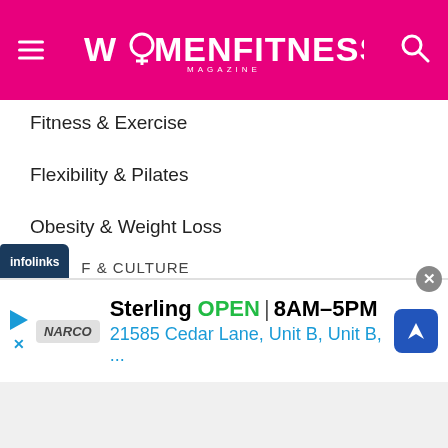WOMENFITNESS MAGAZINE
Fitness & Exercise
Flexibility & Pilates
Obesity & Weight Loss
Personal Training
Posture & Body
Strength Training
infolinks
F & CULTURE
[Figure (screenshot): Advertisement banner: Sterling OPEN 8AM-5PM, 21585 Cedar Lane, Unit B, Unit B, ... with navigation icon and Narco logo]
Sterling OPEN 8AM–5PM
21585 Cedar Lane, Unit B, Unit B, ...